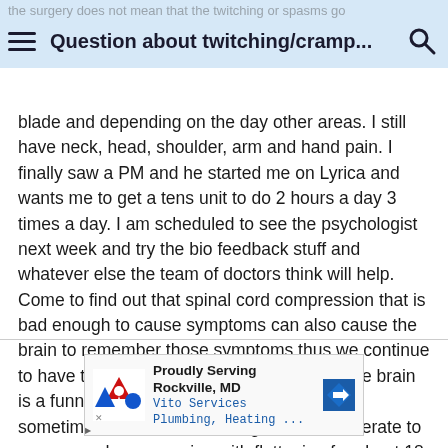Question about twitching/cramp...
blade and depending on the day other areas. I still have neck, head, shoulder, arm and hand pain. I finally saw a PM and he started me on Lyrica and wants me to get a tens unit to do 2 hours a day 3 times a day. I am scheduled to see the psychologist next week and try the bio feedback stuff and whatever else the team of doctors think will help. Come to find out that spinal cord compression that is bad enough to cause symptoms can also cause the brain to remember those symptoms thus we continue to have them for however long or forever. The brain is a funny tool it remembers everything and sometimes doesn't want to forget. I had moderate to severe cord compression with flattening for about 18 months.
[Figure (other): Advertisement banner for Vito Services Plumbing, Heating - Proudly Serving Rockville, MD]